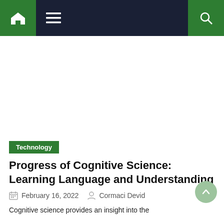Navigation bar with home, menu, and search icons
[Figure (other): Advertisement or blank space area below navigation]
Technology
Progress of Cognitive Science: Learning Language and Understanding
February 16, 2022   Cormaci Devid
Cognitive science provides an insight into the...